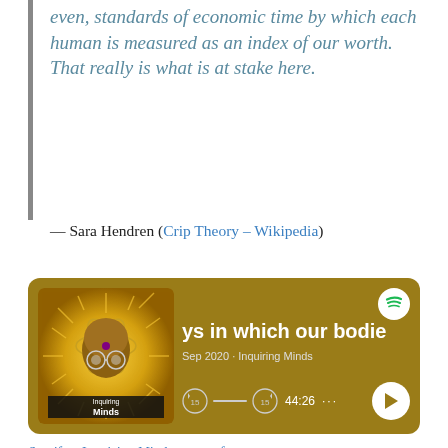even, standards of economic time by which each human is measured as an index of our worth. That really is what is at stake here.
— Sara Hendren (Crip Theory – Wikipedia)
[Figure (screenshot): Spotify podcast player card with golden/yellow background showing 'Inquiring Minds' podcast art and episode title 'ys in which our bodie', Sep 2020, 44:26 duration]
Spotify – Inquiring Minds – omny.fm